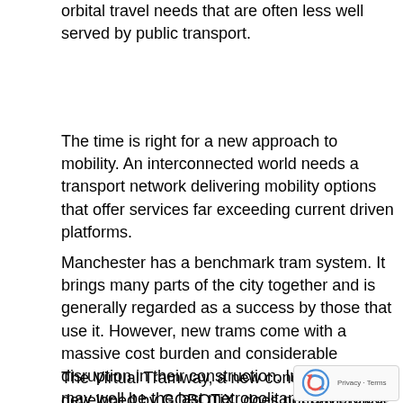orbital travel needs that are often less well served by public transport.
The time is right for a new approach to mobility. An interconnected world needs a transport network delivering mobility options that offer services far exceeding current driven platforms.
Manchester has a benchmark tram system. It brings many parts of the city together and is generally regarded as a success by those that use it. However, new trams come with a massive cost burden and considerable disruption in their construction. Indeed, this may well be the last metropolitan tram project of its size in the UK again?
The Virtual Tramway, a new concept developed by GOBOTiX, does not have guide rails or tracks, it is